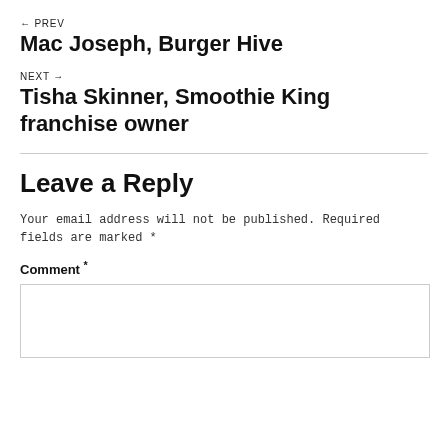← PREV
Mac Joseph, Burger Hive
NEXT →
Tisha Skinner, Smoothie King franchise owner
Leave a Reply
Your email address will not be published. Required fields are marked *
Comment *